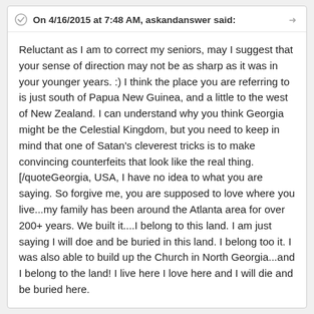On 4/16/2015 at 7:48 AM, askandanswer said:
Reluctant as I am to correct my seniors, may I suggest that your sense of direction may not be as sharp as it was in your younger years. :) I think the place you are referring to is just south of Papua New Guinea, and a little to the west of New Zealand. I can understand why you think Georgia might be the Celestial Kingdom, but you need to keep in mind that one of Satan's cleverest tricks is to make convincing counterfeits that look like the real thing.[/quoteGeorgia, USA, I have no idea to what you are saying. So forgive me, you are supposed to love where you live...my family has been around the Atlanta area for over 200+ years. We built it....I belong to this land. I am just saying I will doe and be buried in this land. I belong too it. I was also able to build up the Church in North Georgia...and I belong to the land! I live here I love here and I will die and be buried here.